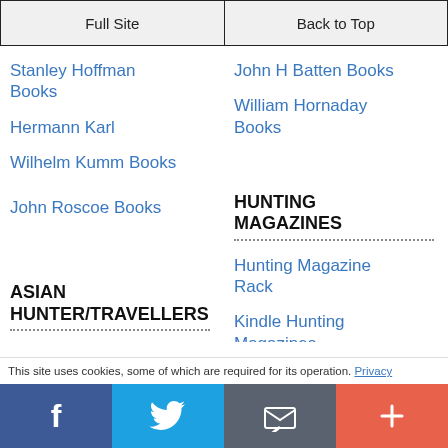Full Site | Back to Top
Stanley Hoffman Books
Hermann Karl
Wilhelm Kumm Books
John Roscoe Books
ASIAN HUNTER/TRAVELLERS
Tiger Hunting Books
Ceylon Hunting Books
John H Batten Books
William Hornaday Books
HUNTING MAGAZINES
Hunting Magazine Rack
Kindle Hunting Magazines
This site uses cookies, some of which are required for its operation. Privacy